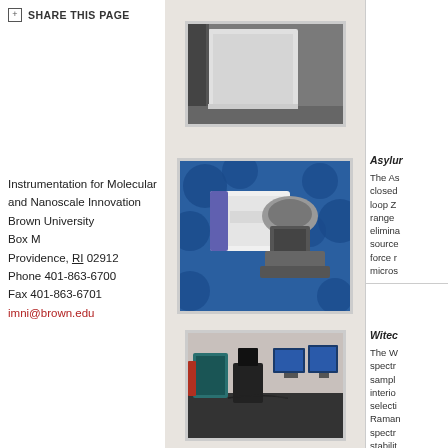SHARE THIS PAGE
[Figure (photo): Partial photo of a scientific instrument (top portion, cropped)]
Instrumentation for Molecular and Nanoscale Innovation
Brown University
Box M
Providence, RI 02912
Phone 401-863-6700
Fax 401-863-6701
imni@brown.edu
[Figure (photo): Asylum Research AFM instrument on a blue background with circular features]
Asylur

The As closed loop Z range elimina source force r micros
[Figure (photo): Witec system - laboratory setup with optical microscope and computers on optical table]
Witec

The W spectr sampl interio select Raman spectr stabilit